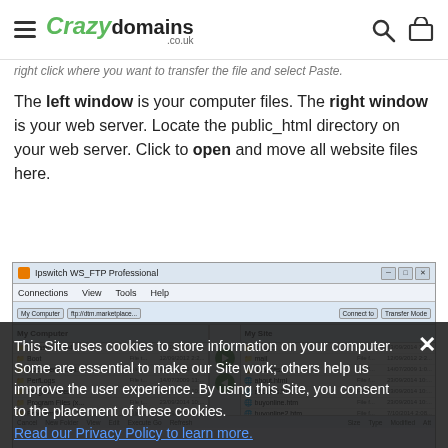Crazy domains .co.uk
right click where you want to transfer the file and select Paste.
The left window is your computer files. The right window is your web server. Locate the public_html directory on your web server. Click to open and move all website files here.
[Figure (screenshot): Ipswitch WS_FTP Professional FTP client screenshot showing dual-pane file manager with local computer files on the left and web server files on the right, including directories like images, mail, .htaccess, about.html, aboutus.html, buyonline.htm, buyonline2.htm]
This Site uses cookies to store information on your computer. Some are essential to make our Site work; others help us improve the user experience. By using this Site, you consent to the placement of these cookies. Read our Privacy Policy to learn more.